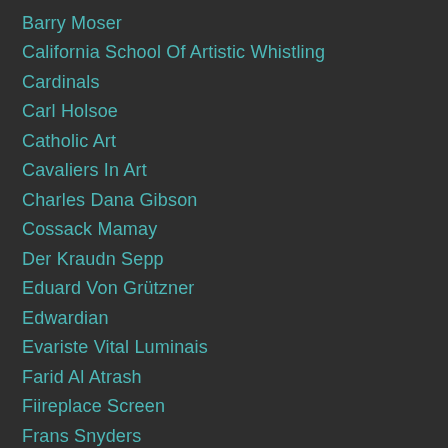Barry Moser
California School Of Artistic Whistling
Cardinals
Carl Holsoe
Catholic Art
Cavaliers In Art
Charles Dana Gibson
Cossack Mamay
Der Kraudn Sepp
Eduard Von Grützner
Edwardian
Evariste Vital Luminais
Farid Al Atrash
Fiireplace Screen
Frans Snyders
Fritz Eichenberg
Geert Chatrou
Gustaf Tenggren
Hacki Tamás
HOT STUFF SERIES
Jim Flora